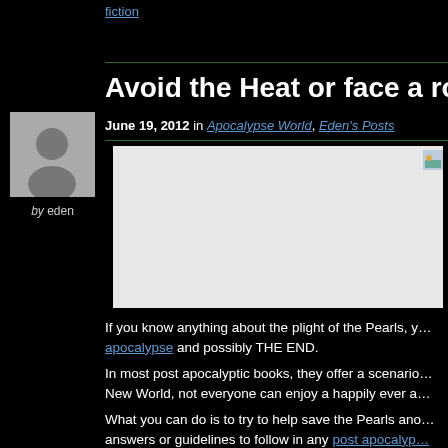fiction
Avoid the Heat or face a rom…
June 19, 2012 in Apocalypse World, Eden's Posts
[Figure (photo): Blog post featured image placeholder, light gray background with small thumbnail in upper right corner]
If you know anything about the plight of the Pearls, y… apocalypse and possibly THE END.
In most post apocalyptic books, they offer a scenario… New World, not everyone can enjoy a happily ever a…
What you can do is to try to help save the Pearls ano… answers or guidelines to follow in any post apocalyp…